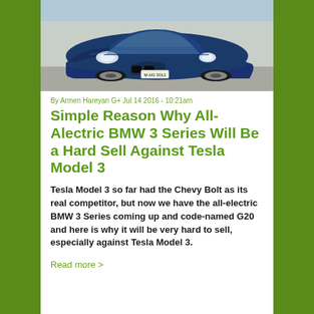[Figure (photo): Blue BMW 3 Series car photographed from the front-left angle, showing the front grille, headlights, and part of the hood. License plate reads M-HG 5012.]
By Armen Hareyan G+ Jul 14 2016 - 10:21am
Simple Reason Why All-Alectric BMW 3 Series Will Be a Hard Sell Against Tesla Model 3
Tesla Model 3 so far had the Chevy Bolt as its real competitor, but now we have the all-electric BMW 3 Series coming up and code-named G20 and here is why it will be very hard to sell, especially against Tesla Model 3.
Read more >